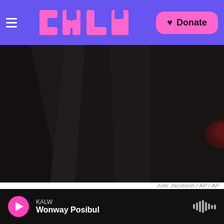KALW — Donate
[Figure (photo): Dark moody photo of spires from the World Trade Center Oculus with a dim red sun barely visible through thick haze]
Julie Jacobson / AP / AP
Spires from the World Trade Center Oculus frame the setting sun, barely visible on Tuesday through a thick haze hanging over Manhattan. Poor air quality warnings have sprung up across the East due to smoke traveling in from Western wildfires.
Malingowski says the smoke is likely to stick
KALW — Wonway Posibul